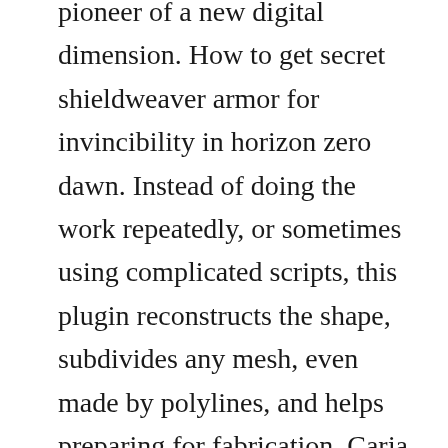pioneer of a new digital dimension. How to get secret shieldweaver armor for invincibility in horizon zero dawn. Instead of doing the work repeatedly, or sometimes using complicated scripts, this plugin reconstructs the shape, subdivides any mesh, even made by polylines, and helps preparing for fabrication. Carja blazon in 2019 horizon zero dawn shield weaver, hd png download is free transparent png image. We will continue to support weaver ii, but it will receive only limited wordpress compatibility updates.